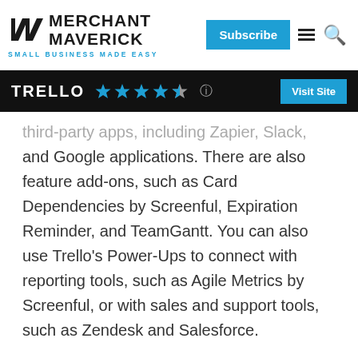MERCHANT MAVERICK — SMALL BUSINESS MADE EASY | Subscribe
TRELLO ★★★★½ — Visit Site
third-party apps, including Zapier, Slack, and Google applications. There are also feature add-ons, such as Card Dependencies by Screenful, Expiration Reminder, and TeamGantt. You can also use Trello's Power-Ups to connect with reporting tools, such as Agile Metrics by Screenful, or with sales and support tools, such as Zendesk and Salesforce.
Trello also provides a simple RESTful web